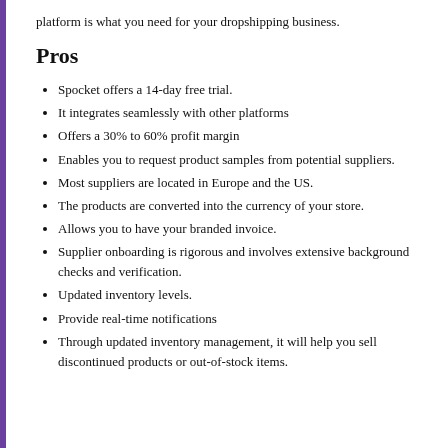platform is what you need for your dropshipping business.
Pros
Spocket offers a 14-day free trial.
It integrates seamlessly with other platforms
Offers a 30% to 60% profit margin
Enables you to request product samples from potential suppliers.
Most suppliers are located in Europe and the US.
The products are converted into the currency of your store.
Allows you to have your branded invoice.
Supplier onboarding is rigorous and involves extensive background checks and verification.
Updated inventory levels.
Provide real-time notifications
Through updated inventory management, it will help you sell discontinued products or out-of-stock items.